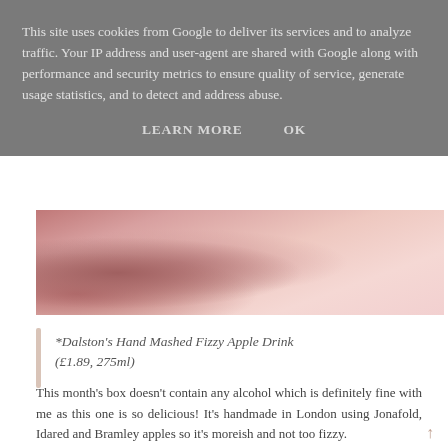This site uses cookies from Google to deliver its services and to analyze traffic. Your IP address and user-agent are shared with Google along with performance and security metrics to ensure quality of service, generate usage statistics, and to detect and address abuse.
LEARN MORE    OK
[Figure (photo): Close-up photo of pink knitted fabric or textile with braided pattern]
*Dalston's Hand Mashed Fizzy Apple Drink (£1.89, 275ml)
This month's box doesn't contain any alcohol which is definitely fine with me as this one is so delicious! It's handmade in London using Jonafold, Idared and Bramley apples so it's moreish and not too fizzy.